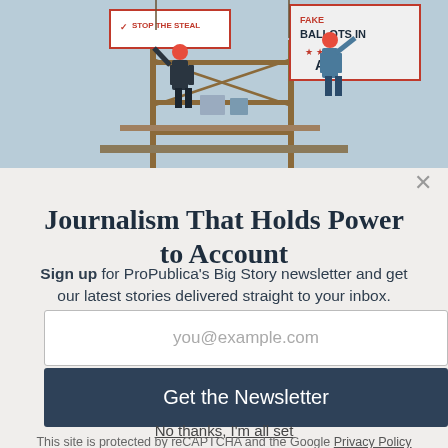[Figure (illustration): Illustration showing construction workers on scaffolding with political signs reading 'STOP THE STEAL' and 'FAKE BALLOTS IN AZ', rendered in a blue-grey editorial illustration style.]
Journalism That Holds Power to Account
Sign up for ProPublica's Big Story newsletter and get our latest stories delivered straight to your inbox.
you@example.com
Get the Newsletter
No thanks, I'm all set
This site is protected by reCAPTCHA and the Google Privacy Policy and Terms of Service apply.